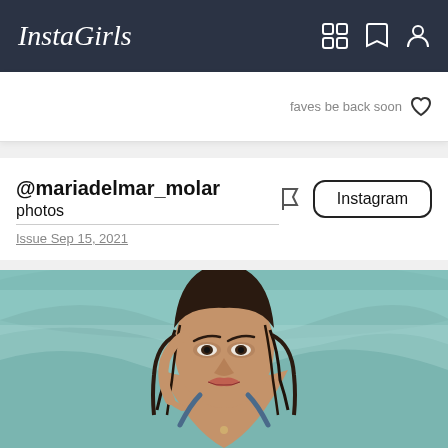InstaGirls
faves be back soon
@mariadelmar_molar
photos
Issue Sep 15, 2021
Instagram
[Figure (photo): A woman with wet dark hair at a beach, wearing a blue swimsuit, posing with her hand near her face. Ocean waves visible in background.]